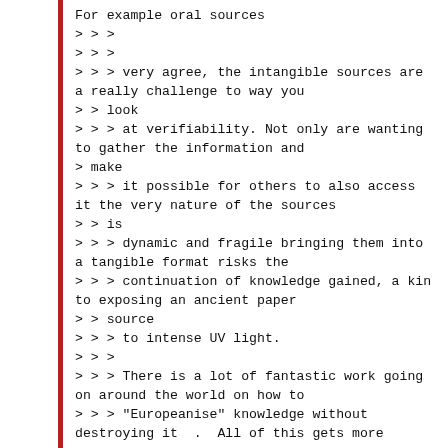For example oral sources
> > >
> > >
> > > very agree, the intangible sources are a really challenge to way you
> > look
> > > at verifiability. Not only are wanting to gather the information and
> make
> > > it possible for others to also access it the very nature of the sources
> > is
> > > dynamic and fragile bringing them into a tangible format risks the
> > > continuation of knowledge gained, a kin to exposing an ancient paper
> > source
> > > to intense UV light.
> > >
> > > There is a lot of fantastic work going on around the world on how to
> > > "Europeanise" knowledge without destroying it  .  All of this gets more